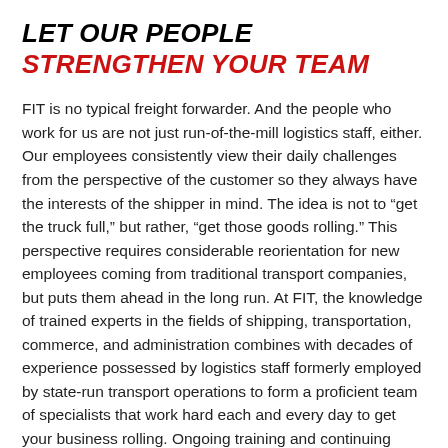LET OUR PEOPLE STRENGTHEN YOUR TEAM
FIT is no typical freight forwarder. And the people who work for us are not just run-of-the-mill logistics staff, either. Our employees consistently view their daily challenges from the perspective of the customer so they always have the interests of the shipper in mind. The idea is not to “get the truck full,” but rather, “get those goods rolling.” This perspective requires considerable reorientation for new employees coming from traditional transport companies, but puts them ahead in the long run. At FIT, the knowledge of trained experts in the fields of shipping, transportation, commerce, and administration combines with decades of experience possessed by logistics staff formerly employed by state-run transport operations to form a proficient team of specialists that work hard each and every day to get your business rolling. Ongoing training and continuing education ensure that our team continues to expand its capabilities by